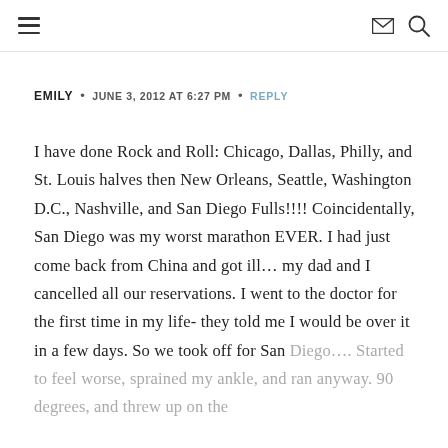≡  ✉ 🔍
EMILY  •  JUNE 3, 2012 AT 6:27 PM  •  REPLY
I have done Rock and Roll: Chicago, Dallas, Philly, and St. Louis halves then New Orleans, Seattle, Washington D.C., Nashville, and San Diego Fulls!!!! Coincidentally, San Diego was my worst marathon EVER. I had just come back from China and got ill… my dad and I cancelled all our reservations. I went to the doctor for the first time in my life- they told me I would be over it in a few days. So we took off for San Diego…. Started to feel worse, sprained my ankle, and ran anyway. 90 degrees, and threw up on the